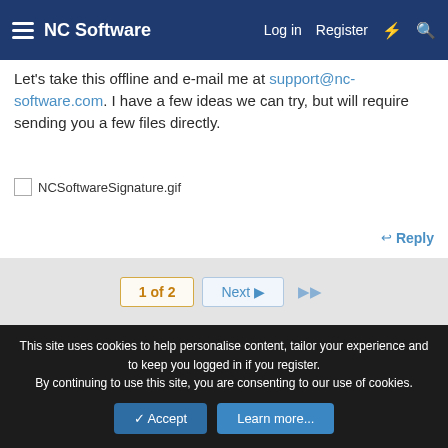NC Software  Log in  Register
Let's take this offline and e-mail me at support@nc-software.com. I have a few ideas we can try, but will require sending you a few files directly.
[Figure (other): NCSoftwareSignature.gif - a broken/loading image placeholder showing the filename]
Reply
1 of 2  Next  ▶▶
Write your reply...
This site uses cookies to help personalise content, tailor your experience and to keep you logged in if you register.
By continuing to use this site, you are consenting to our use of cookies.
✓ Accept  Learn more...